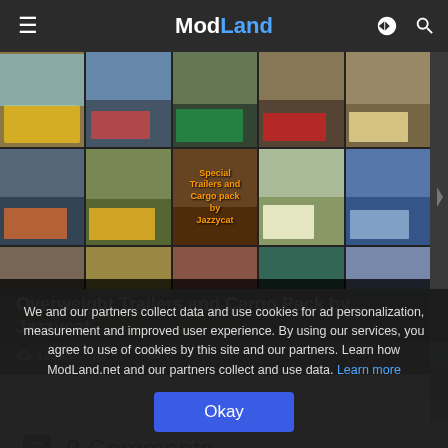ModLand
[Figure (photo): Grid of screenshots showing Overweight Trailers and Cargo Pack mod for American Truck Simulator by Jazzycat, showing various heavy trucks and trailers carrying oversized loads]
Overweight Trailers and Cargo Pack by Jazzycat
12598 · 66 · 3
0 Comments
We and our partners collect data and use cookies for ad personalization, measurement and improved user experience. By using our services, you agree to use of cookies by this site and our partners. Learn how ModLand.net and our partners collect and use data. Learn more
Okay